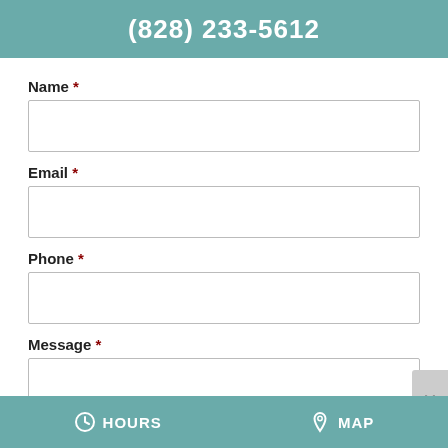(828) 233-5612
Name *
Email *
Phone *
Message *
HOURS   MAP